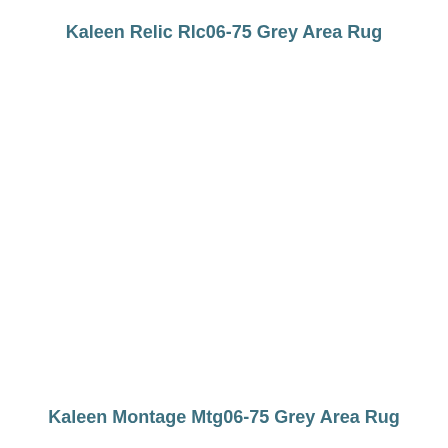Kaleen Relic Rlc06-75 Grey Area Rug
Kaleen Montage Mtg06-75 Grey Area Rug